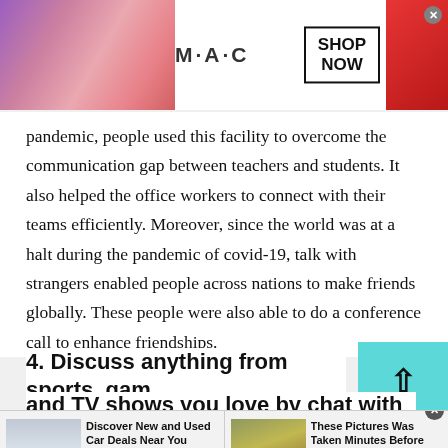[Figure (screenshot): MAC cosmetics advertisement banner with lipsticks on left and right, MAC logo in center, SHOP NOW button in a black-bordered box, and an X close button]
pandemic, people used this facility to overcome the communication gap between teachers and students. It also helped the office workers to connect with their teams efficiently. Moreover, since the world was at a halt during the pandemic of covid-19, talk with strangers enabled people across nations to make friends globally. These people were also able to do a conference call to enhance friendships.
4. Discuss anything from sports, games and TV shows you love by chat with
[Figure (screenshot): Bottom advertisement bar with two ads: 'Discover New and Used Car Deals Near You' (Ad by CarDealsNearYou) and 'These Pictures Was Taken Minutes Before The Beginning Of The Disaster!' (Ad by BillyNews), each with a thumbnail image]